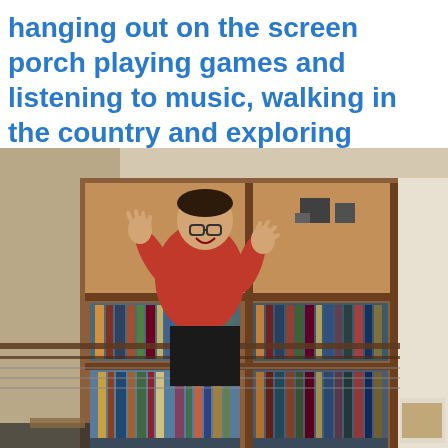hanging out on the screen porch playing games and listening to music, walking in the country and exploring nature.
[Figure (photo): A man in a red t-shirt and glasses standing behind a railing, waving both hands with an excited expression, in front of a large wooden bookshelf filled with books and items.]